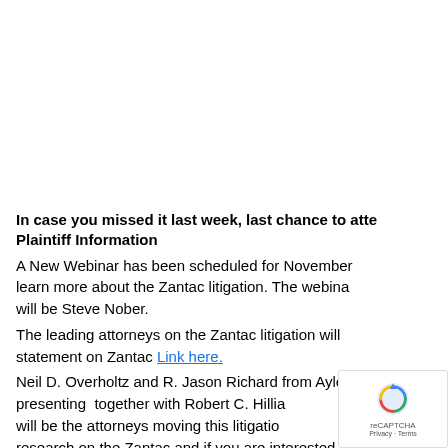In case you missed it last week, last chance to atte… Plaintiff Information
A New Webinar has been scheduled for November… learn more about the Zantac litigation. The webina… will be Steve Nober.
The leading attorneys on the Zantac litigation will … statement on Zantac Link here.
Neil D. Overholtz and R. Jason Richard from Ayleto… presenting  together with Robert C. Hillia… will be the attorneys moving this litigatio… research on the Zantac and if you are interested in…